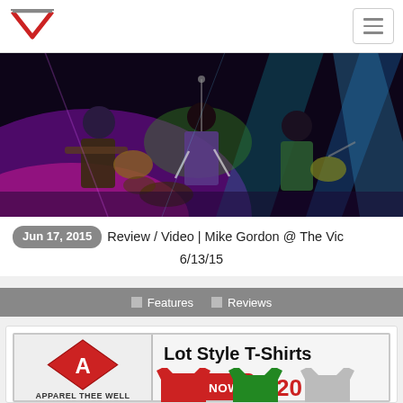V [logo] [hamburger menu]
[Figure (photo): Concert photo showing three musicians performing on stage under colorful stage lighting (purple, green, blue beams). Musicians playing guitar and other instruments.]
Jun 17, 2015  Review / Video | Mike Gordon @ The Vic 6/13/15
Features  Reviews
[Figure (infographic): Advertisement for Lot Style T-Shirts by Apparel Thee Well. Shows diamond logo with 'A', BUY NOW button, price $20, and t-shirt images at the bottom.]